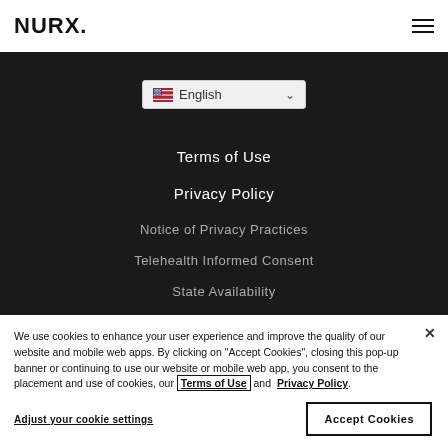[Figure (logo): NURX. logo in bold black text on white header bar]
[Figure (illustration): Hamburger menu icon (three horizontal lines) on right side of header]
English
Terms of Use
Privacy Policy
Notice of Privacy Practices
Telehealth Informed Consent
State Availability
CCPA Do Not Sell My Personal Information
We use cookies to enhance your user experience and improve the quality of our website and mobile web apps. By clicking on "Accept Cookies", closing this pop-up banner or continuing to use our website or mobile web app, you consent to the placement and use of cookies, our Terms of Use and Privacy Policy.
Adjust your cookie settings
Accept Cookies